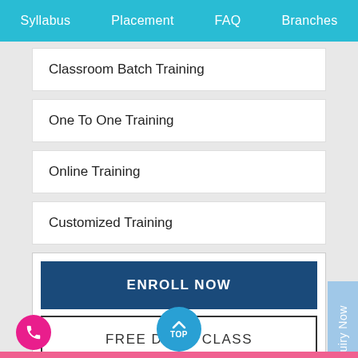Syllabus   Placement   FAQ   Branches
Classroom Batch Training
One To One Training
Online Training
Customized Training
ENROLL NOW
FREE DEMO CLASS
Enquiry Now
TOP